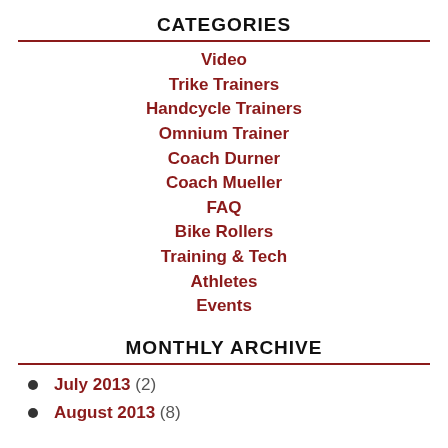CATEGORIES
Video
Trike Trainers
Handcycle Trainers
Omnium Trainer
Coach Durner
Coach Mueller
FAQ
Bike Rollers
Training & Tech
Athletes
Events
MONTHLY ARCHIVE
July 2013 (2)
August 2013 (8)